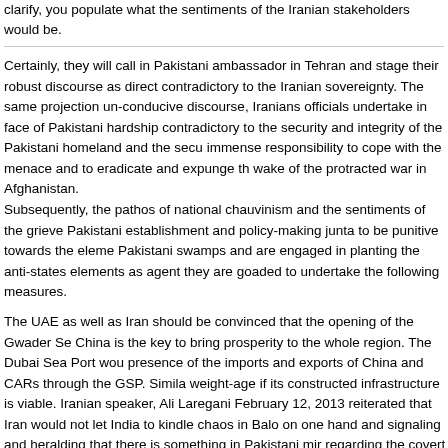clarify, you populate what the sentiments of the Iranian stakeholders would be.
Certainly, they will call in Pakistani ambassador in Tehran and stage their robust discourse as direct contradictory to the Iranian sovereignty. The same projection un-conducive discourse, Iranians officials undertake in face of Pakistani hardship contradictory to the security and integrity of the Pakistani homeland and the secu immense responsibility to cope with the menace and to eradicate and expunge th wake of the protracted war in Afghanistan.
Subsequently, the pathos of national chauvinism and the sentiments of the grieve Pakistani establishment and policy-making junta to be punitive towards the eleme Pakistani swamps and are engaged in planting the anti-states elements as agent they are goaded to undertake the following measures.
The UAE as well as Iran should be convinced that the opening of the Gwader Se China is the key to bring prosperity to the whole region. The Dubai Sea Port wou presence of the imports and exports of China and CARs through the GSP. Simila weight-age if its constructed infrastructure is viable. Iranian speaker, Ali Laregani February 12, 2013 reiterated that Iran would not let India to kindle chaos in Balo on one hand and signaling and heralding that there is something in Pakistani mir regarding the covert role being played through the Iranian soil.